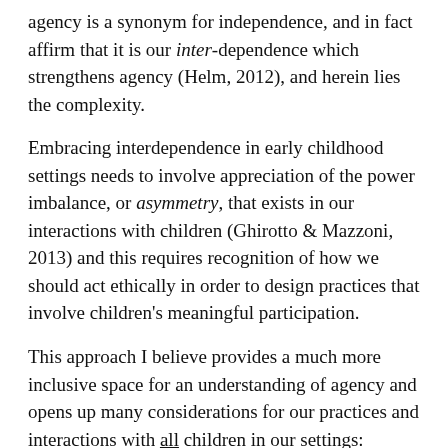agency is a synonym for independence, and in fact affirm that it is our inter-dependence which strengthens agency (Helm, 2012), and herein lies the complexity.
Embracing interdependence in early childhood settings needs to involve appreciation of the power imbalance, or asymmetry, that exists in our interactions with children (Ghirotto & Mazzoni, 2013) and this requires recognition of how we should act ethically in order to design practices that involve children's meaningful participation.
This approach I believe provides a much more inclusive space for an understanding of agency and opens up many considerations for our practices and interactions with all children in our settings:
Are children invited into daily rituals and routines, or are they told/taken to participate when the educator decides?
Are educators responsive to children's non-verbal cues as